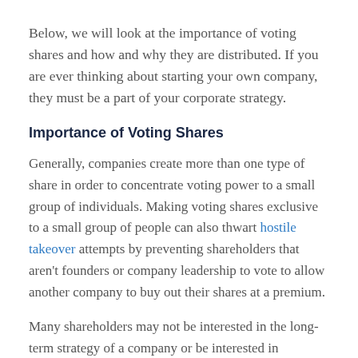Below, we will look at the importance of voting shares and how and why they are distributed. If you are ever thinking about starting your own company, they must be a part of your corporate strategy.
Importance of Voting Shares
Generally, companies create more than one type of share in order to concentrate voting power to a small group of individuals. Making voting shares exclusive to a small group of people can also thwart hostile takeover attempts by preventing shareholders that aren't founders or company leadership to vote to allow another company to buy out their shares at a premium.
Many shareholders may not be interested in the long-term strategy of a company or be interested in